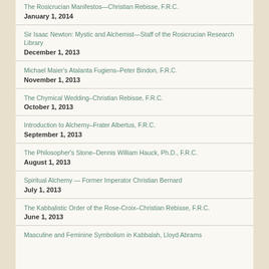The Rosicrucian Manifestos—Christian Rebisse, F.R.C.
January 1, 2014
Sir Isaac Newton: Mystic and Alchemist—Staff of the Rosicrucian Research Library
December 1, 2013
Michael Maier's Atalanta Fugiens–Peter Bindon, F.R.C.
November 1, 2013
The Chymical Wedding–Christian Rebisse, F.R.C.
October 1, 2013
Introduction to Alchemy–Frater Albertus, F.R.C.
September 1, 2013
The Philosopher's Stone–Dennis William Hauck, Ph.D., F.R.C.
August 1, 2013
Spiritual Alchemy — Former Imperator Christian Bernard
July 1, 2013
The Kabbalistic Order of the Rose-Croix–Christian Rebisse, F.R.C.
June 1, 2013
Masculine and Feminine Symbolism in Kabbalah, Lloyd Abrams